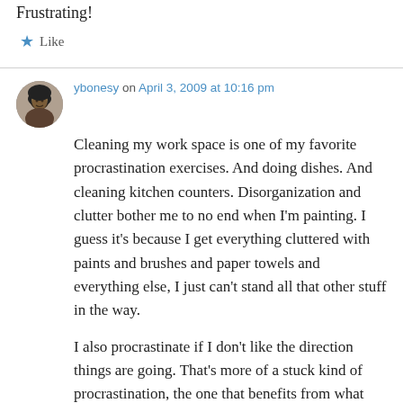Frustrating!
★ Like
ybonesy on April 3, 2009 at 10:16 pm
Cleaning my work space is one of my favorite procrastination exercises. And doing dishes. And cleaning kitchen counters. Disorganization and clutter bother me to no end when I'm painting. I guess it's because I get everything cluttered with paints and brushes and paper towels and everything else, I just can't stand all that other stuff in the way.
I also procrastinate if I don't like the direction things are going. That's more of a stuck kind of procrastination, the one that benefits from what